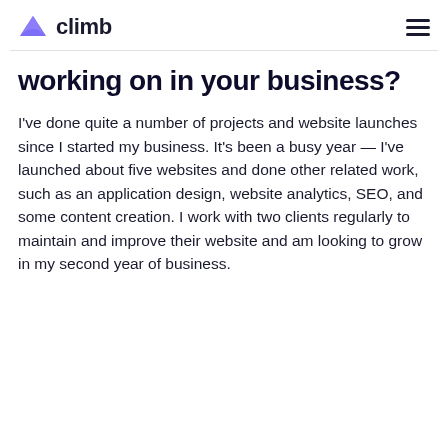climb
working on in your business?
I've done quite a number of projects and website launches since I started my business. It's been a busy year — I've launched about five websites and done other related work, such as an application design, website analytics, SEO, and some content creation. I work with two clients regularly to maintain and improve their website and am looking to grow in my second year of business.